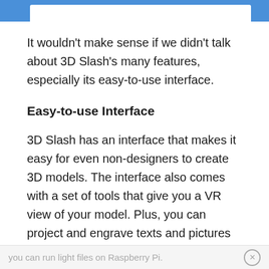[Figure (screenshot): Top browser navigation bar area with blue background and white inner box]
It wouldn’t make sense if we didn’t talk about 3D Slash’s many features, especially its easy-to-use interface.
Easy-to-use Interface
3D Slash has an interface that makes it easy for even non-designers to create 3D models. The interface also comes with a set of tools that give you a VR view of your model. Plus, you can project and engrave texts and pictures on your models.
The software is also easy to navigate. Even more,
you can run light files on Raspberry Pi.